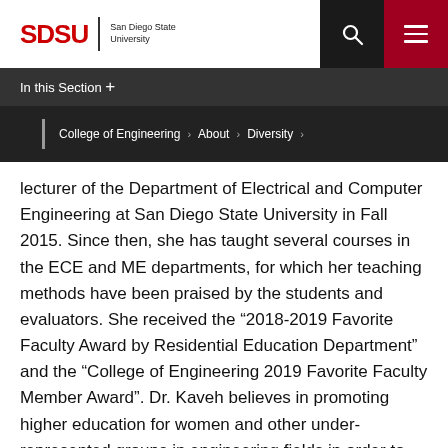SDSU | San Diego State University
In this Section +
College of Engineering > About > Diversity >
lecturer of the Department of Electrical and Computer Engineering at San Diego State University in Fall 2015. Since then, she has taught several courses in the ECE and ME departments, for which her teaching methods have been praised by the students and evaluators. She received the “2018-2019 Favorite Faculty Award by Residential Education Department” and the “College of Engineering 2019 Favorite Faculty Member Award”. Dr. Kaveh believes in promoting higher education for women and other under-represented groups in engineering fields in order to increase their presence in the scientific environment, which could potentially have a great contribution to